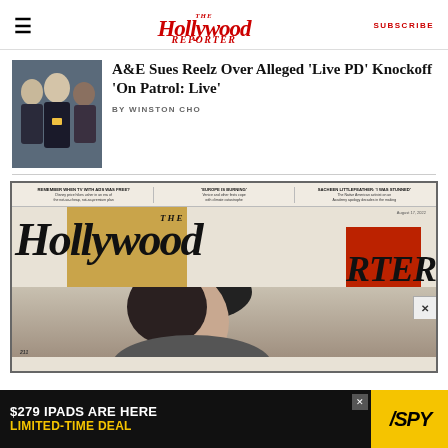The Hollywood Reporter — SUBSCRIBE
A&E Sues Reelz Over Alleged 'Live PD' Knockoff 'On Patrol: Live'
BY WINSTON CHO
[Figure (photo): Photo of Live PD cast members in uniform shirts against a white background]
[Figure (photo): Hollywood Reporter magazine cover featuring a woman, August 17 2022 issue, with teasers: REMEMBER WHEN TV WITH ADS WAS FREE?, EUROPE IS BURNING, SACHEEN LITTLEFEATHER: I WAS STUNNED]
[Figure (other): Advertisement banner: $279 IPADS ARE HERE LIMITED-TIME DEAL — SPY brand]